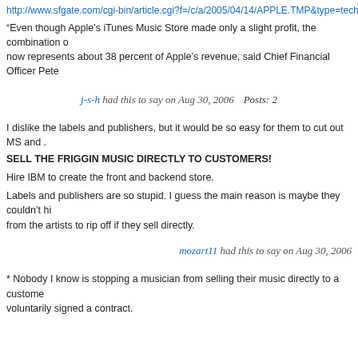http://www.sfgate.com/cgi-bin/article.cgi?f=/c/a/2005/04/14/APPLE.TMP&type=tech
“Even though Apple’s iTunes Music Store made only a slight profit, the combination of now represents about 38 percent of Apple’s revenue, said Chief Financial Officer Pete
j-s-h had this to say on Aug 30, 2006    Posts: 2
I dislike the labels and publishers, but it would be so easy for them to cut out MS and .
SELL THE FRIGGIN MUSIC DIRECTLY TO CUSTOMERS!
Hire IBM to create the front and backend store.
Labels and publishers are so stupid. I guess the main reason is maybe they couldn’t hi from the artists to rip off if they sell directly.
mozart11 had this to say on Aug 30, 2006
* Nobody I know is stopping a musician from selling their music directly to a custome voluntarily signed a contract.